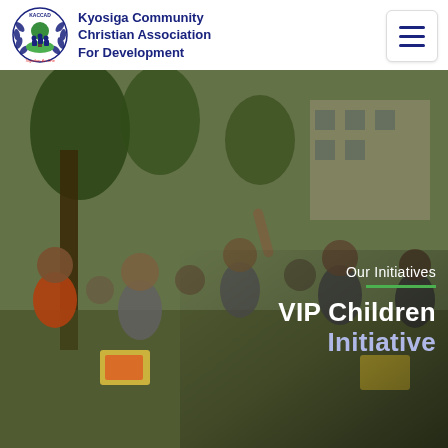Kyosiga Community Christian Association For Development
[Figure (photo): Children sitting outdoors reading books, one child raising a hand, under trees with green surroundings and buildings in the background]
Our Initiatives
VIP Children Initiative